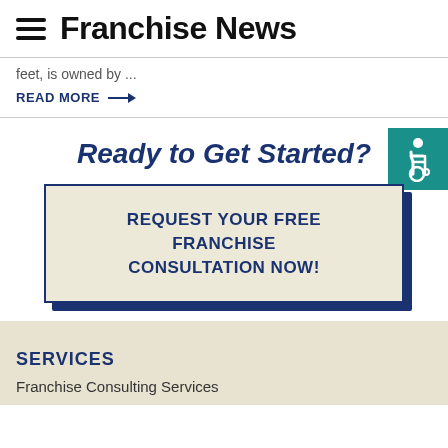Franchise News
feet, is owned by ...
READ MORE →
Ready to Get Started?
REQUEST YOUR FREE FRANCHISE CONSULTATION NOW!
SERVICES
Franchise Consulting Services